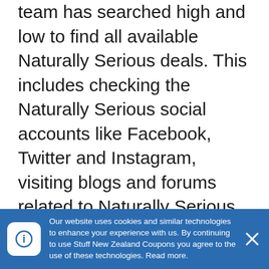team has searched high and low to find all available Naturally Serious deals. This includes checking the Naturally Serious social accounts like Facebook, Twitter and Instagram, visiting blogs and forums related to Naturally Serious, and even checking other top deal sites for the latest Naturally Serious coupon codes.
When shopping online for Naturally Serious, it is a good idea to always visit us here at Stuff New Zealand Coupons before you finish your order. The Stuff New Zealand Coupons team save our visitors thousands of dollars every month, many of which never knew Naturally Serious discount codes were available until visiting our site. Now that you know how easy...
Our website uses cookies and similar technologies to enhance your experience with us. By continuing to use Stuff New Zealand Coupons you agree to the use of these technologies. Read more.